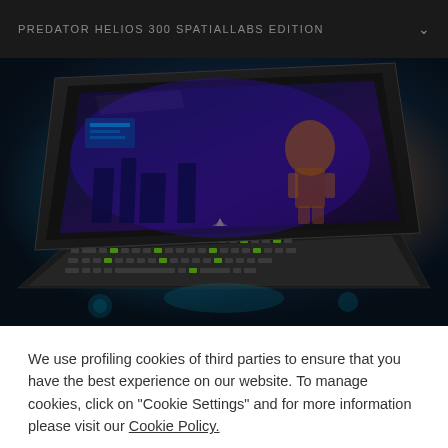PREDATOR HELIOS 300 SPATIALLABS EDITION
[Figure (photo): Acer Predator Helios 300 SpatialLabs Edition laptop with illuminated RGB keyboard displayed against a dark cyan/teal background, showing a sci-fi game scene on the screen featuring a robotic character in a futuristic cityscape. Holographic effects emanate from the laptop's base.]
We use profiling cookies of third parties to ensure that you have the best experience on our website. To manage cookies, click on "Cookie Settings" and for more information please visit our Cookie Policy.
Cookie Settings
Accept All Cookies